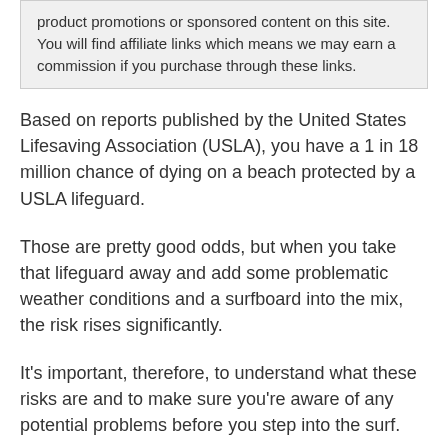product promotions or sponsored content on this site. You will find affiliate links which means we may earn a commission if you purchase through these links.
Based on reports published by the United States Lifesaving Association (USLA), you have a 1 in 18 million chance of dying on a beach protected by a USLA lifeguard.
Those are pretty good odds, but when you take that lifeguard away and add some problematic weather conditions and a surfboard into the mix, the risk rises significantly.
It's important, therefore, to understand what these risks are and to make sure you're aware of any potential problems before you step into the surf.